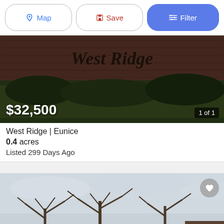Map | Save | Filter
[Figure (photo): Outdoor photo of a brick sign reading 'West Ridge' surrounded by grass and shrubs in dim lighting]
$32,500
1 of 1
West Ridge | Eunice
0.4 acres
Listed 299 Days Ago
[Figure (photo): Outdoor photo showing bare trees against an overcast sky with a small building partially visible in the lower right]